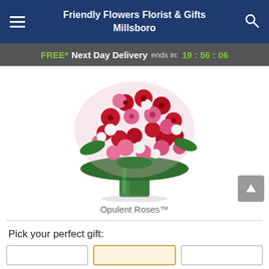Friendly Flowers Florist & Gifts Millsboro
FREE* Next Day Delivery ends in: 19 : 56 : 06
[Figure (photo): A large bouquet of red and pink roses with white filler flowers arranged in a tall green cylindrical glass vase.]
Opulent Roses™
Pick your perfect gift: